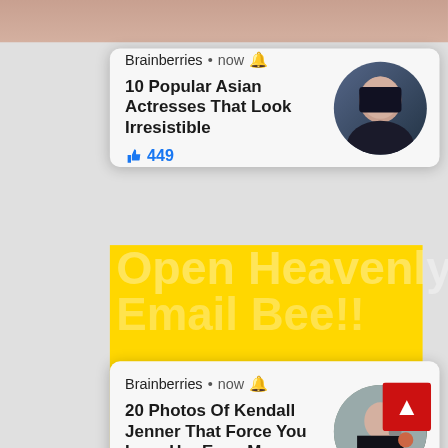[Figure (screenshot): Notification card 1: Brainberries - 10 Popular Asian Actresses That Look Irresistible, 449 likes]
[Figure (screenshot): Notification card 2: Brainberries - 20 Photos Of Kendall Jenner That Force You Love Her Even More, 495 likes]
[Figure (screenshot): Yellow background block with watermark text 'Open Heavenly Email Bee!!' and email signup form with Sign Me Up button]
Apostle Peter played a significant role in the history of the Church despite his background (Acts 4:13; 5:15). We want to learn some